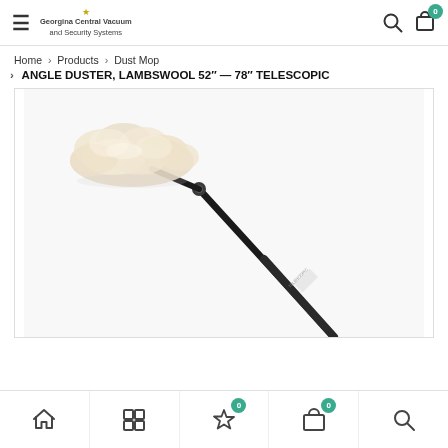Georgina Central Vacuum and Security Systems — navigation header with hamburger menu, search icon, and cart (0)
Home > Products > Dust Mop > ANGLE DUSTER, LAMBSWOOL 52" — 78" TELESCOPIC
[Figure (photo): Product photo of a lambswool angle duster with a long black telescopic handle (52"-78"), angled at approximately 45 degrees with a fluffy cream/white lambswool head at the top left and the pole extending to the lower right.]
Bottom navigation bar with home, grid/menu, wishlist (0), cart (0), and search icons